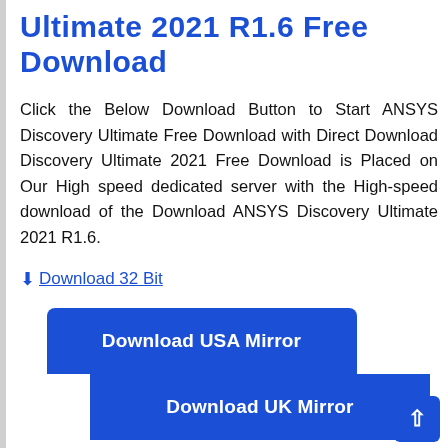Ultimate 2021 R1.6 Free Download
Click the Below Download Button to Start ANSYS Discovery Ultimate Free Download with Direct Download Discovery Ultimate 2021 Free Download is Placed on Our High speed dedicated server with the High-speed download of the Download ANSYS Discovery Ultimate 2021 R1.6.
Download 32 Bit
[Figure (screenshot): Download USA Mirror button (blue rounded rectangle)]
[Figure (screenshot): Download UK Mirror button (blue rectangle)]